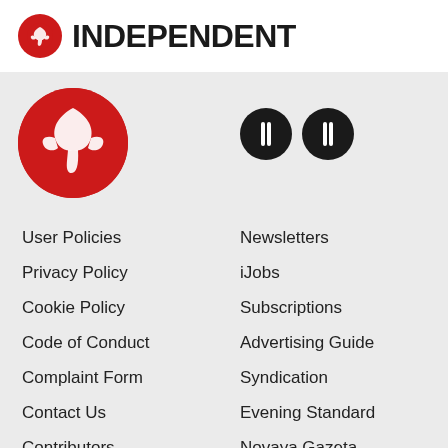[Figure (logo): The Independent newspaper logo: red circle with white eagle icon and bold text INDEPENDENT]
[Figure (logo): Large red circle with white eagle logo and two dark circular social media buttons]
User Policies
Newsletters
Privacy Policy
iJobs
Cookie Policy
Subscriptions
Code of Conduct
Advertising Guide
Complaint Form
Syndication
Contact Us
Evening Standard
Contributors
Novaya Gazeta
All Topics
Install our Apps
Archive